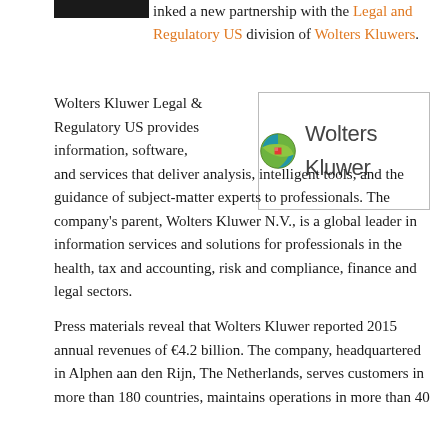inked a new partnership with the Legal and Regulatory US division of Wolters Kluwers.
[Figure (logo): Wolters Kluwer logo with globe icon and company name text]
Wolters Kluwer Legal & Regulatory US provides information, software, and services that deliver analysis, intelligent tools, and the guidance of subject-matter experts to professionals. The company's parent, Wolters Kluwer N.V., is a global leader in information services and solutions for professionals in the health, tax and accounting, risk and compliance, finance and legal sectors.
Press materials reveal that Wolters Kluwer reported 2015 annual revenues of €4.2 billion. The company, headquartered in Alphen aan den Rijn, The Netherlands, serves customers in more than 180 countries, maintains operations in more than 40